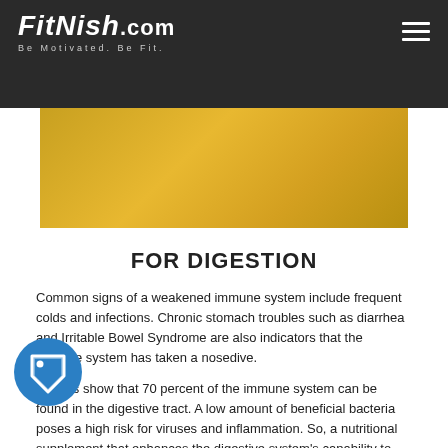FitNish.com — Be Motivated. Be Fit.
[Figure (photo): Gold/yellow toned image area, partially visible, showing a golden background, part of a fitness article image.]
FOR DIGESTION
Common signs of a weakened immune system include frequent colds and infections. Chronic stomach troubles such as diarrhea and Irritable Bowel Syndrome are also indicators that the immune system has taken a nosedive.
Studies show that 70 percent of the immune system can be found in the digestive tract. A low amount of beneficial bacteria poses a high risk for viruses and inflammation. So, a nutritional supplement that enhances the digestive system's capability to protect the body is needed to ward off those nasty bugs.
Proteolytic enzymes such as protease, regulate and modulate the body's inflammatory response. These protein-destroying enzymes inhibit the growth of